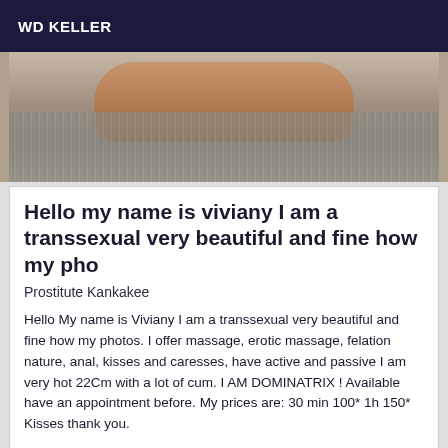WD KELLER
[Figure (photo): Cropped photo showing a body lying on a furry gray surface, warm skin tones visible]
Hello my name is viviany I am a transsexual very beautiful and fine how my pho
Prostitute Kankakee
Hello My name is Viviany I am a transsexual very beautiful and fine how my photos. I offer massage, erotic massage, felation nature, anal, kisses and caresses, have active and passive I am very hot 22Cm with a lot of cum. I AM DOMINATRIX ! Available have an appointment before. My prices are: 30 min 100* 1h 150* Kisses thank you.
[Figure (photo): Partial photo with Online badge overlay, warm tones, interior setting visible]